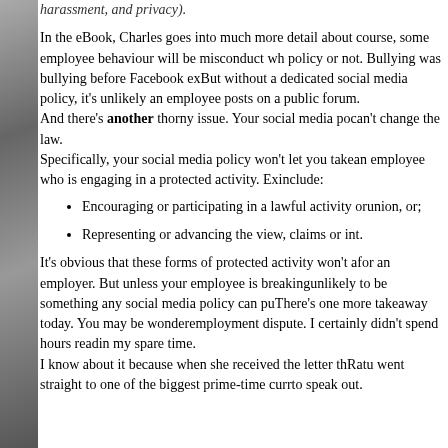[Figure (illustration): Decorative grayscale illustration forming left column border of the page]
harassment, and privacy).
In the eBook, Charles goes into much more detail about social media policy. Of course, some employee behaviour will be misconduct whether there's a policy or not. Bullying was bullying before Facebook existed. But without a dedicated social media policy, it's unlikely you can discipline what an employee posts on a public forum.
And there's another thorny issue. Your social media policy can't change the law.
Specifically, your social media policy won't take action against an employee who is engaging in a protected activity. Examples include:
Encouraging or participating in a lawful activity or ... union, or;
Representing or advancing the view, claims or int...
It's obvious that these forms of protected activity won't always be convenient for an employer. But unless your employee is breaking the law, it's unlikely to be something any social media policy can put a stop to.
There's one more takeaway today. You may be wondering how I know about this employment dispute. I certainly didn't spend hours reading employment law cases in my spare time.
I know about it because when she received the letter that terminated her, Ratu went straight to one of the biggest prime-time current affairs programs to speak out.